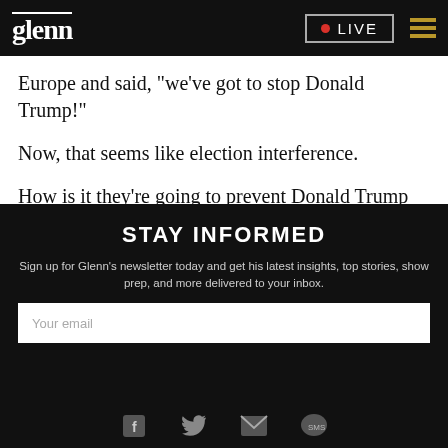glenn | LIVE
Europe and said, "we've got to stop Donald Trump!"
Now, that seems like election interference.
How is it they're going to prevent Donald Trump from over in Europe?
STAY INFORMED
Sign up for Glenn's newsletter today and get his latest insights, top stories, show prep, and more delivered to your inbox.
Social icons: Facebook, Twitter, Email, SMS